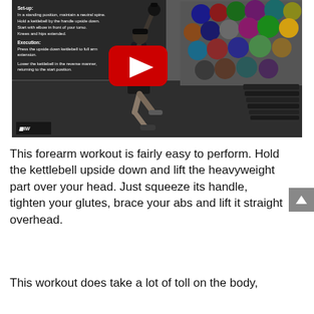[Figure (screenshot): YouTube video thumbnail showing a person performing a kettlebell overhead press exercise in a gym. The video has overlay text describing set-up and execution instructions. A large red YouTube play button is centered on the video. Gym equipment including ball racks are visible in the background. The FW logo appears in the bottom-left corner.]
This forearm workout is fairly easy to perform. Hold the kettlebell upside down and lift the heavyweight part over your head. Just squeeze its handle, tighten your glutes, brace your abs and lift it straight overhead.
This workout does take a lot of toll on the body,